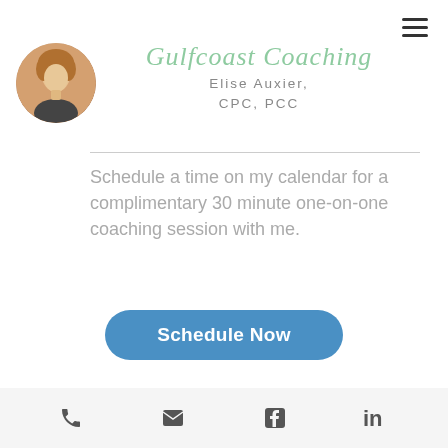[Figure (logo): Gulfcoast Coaching logo with circular avatar photo of Elise Auxier and cursive green script text reading 'Gulfcoast Coaching' with subtitle 'Elise Auxier, CPC, PCC']
Schedule a time on my calendar for a complimentary 30 minute one-on-one coaching session with me.
[Figure (other): Blue rounded rectangle button with white bold text reading 'Schedule Now']
$100 Discount
[Figure (photo): Partial bottom portion of a person photo, cropped]
Phone, Email, Facebook, LinkedIn icons